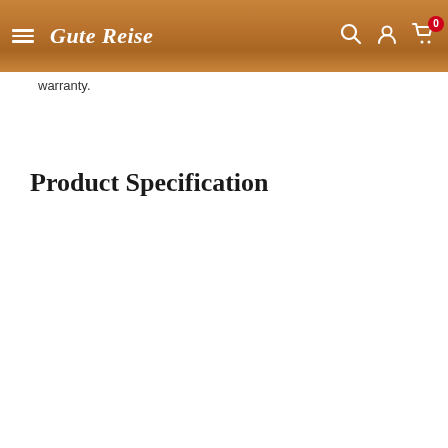Gute Reise
warranty.
Product Specification
| Product Attributes | Values |
| --- | --- |
| Product Code | 600638 |
| Color | Blue |
| Height(cms) | 47 |
| Width(cms) | 26 |